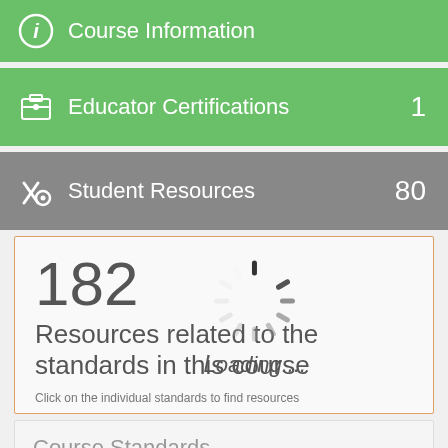Course Information
Educator Certifications 1
Student Resources 80
[Figure (infographic): Loading spinner with spokes radiating from center, with 'Loading....' text below]
182
Resources related to the standards in this course
Click on the individual standards to find resources
Course Standards
Filter and display options